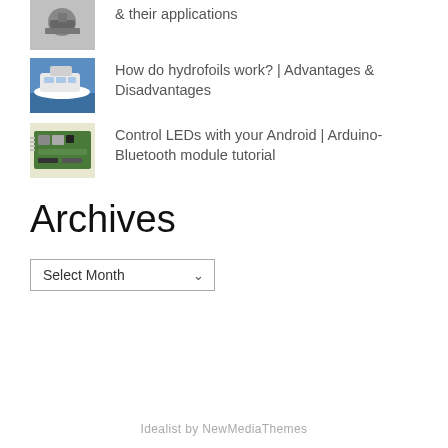& their applications
[Figure (photo): Thumbnail image of a ship/vessel on water]
How do hydrofoils work? | Advantages & Disadvantages
[Figure (photo): Thumbnail image of a circuit board / Arduino-Bluetooth module]
Control LEDs with your Android | Arduino-Bluetooth module tutorial
Archives
Select Month
Idealist by NewMediaThemes